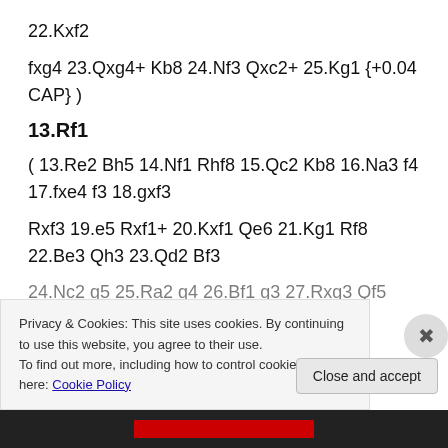22.Kxf2
fxg4 23.Qxg4+ Kb8 24.Nf3 Qxc2+ 25.Kg1 {+0.04 CAP} )
13.Rf1
( 13.Re2 Bh5 14.Nf1 Rhf8 15.Qc2 Kb8 16.Na3 f4 17.fxe4 f3 18.gxf3
Rxf3 19.e5 Rxf1+ 20.Kxf1 Qe6 21.Kg1 Rf8 22.Be3 Qh3 23.Qd2 Bf3
24.Nc2 g5 25.Ra2 g4 26.Bf1 g3 27.Rxg3 Qf5 28.Rxf3
Privacy & Cookies: This site uses cookies. By continuing to use this website, you agree to their use.
To find out more, including how to control cookies, see here: Cookie Policy
Close and accept